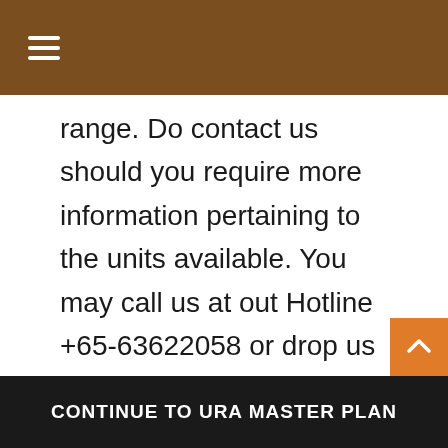≡
range. Do contact us should you require more information pertaining to the units available. You may call us at out Hotline +65-63622058 or drop us your questions using the Online Enquiry Form at the bottom of this Page.
CONTINUE TO URA MASTER PLAN